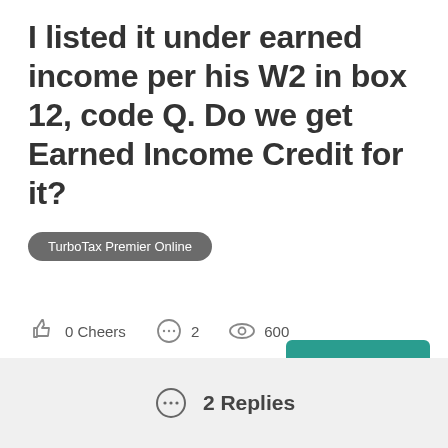I listed it under earned income per his W2 in box 12, code Q. Do we get Earned Income Credit for it?
TurboTax Premier Online
0 Cheers  2  600
Reply
2 Replies